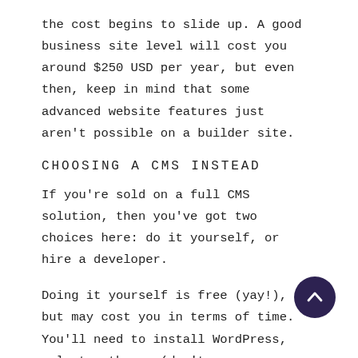the cost begins to slide up. A good business site level will cost you around $250 USD per year, but even then, keep in mind that some advanced website features just aren't possible on a builder site.
CHOOSING A CMS INSTEAD
If you're sold on a full CMS solution, then you've got two choices here: do it yourself, or hire a developer.
Doing it yourself is free (yay!), but may cost you in terms of time. You'll need to install WordPress, select a theme, (don't